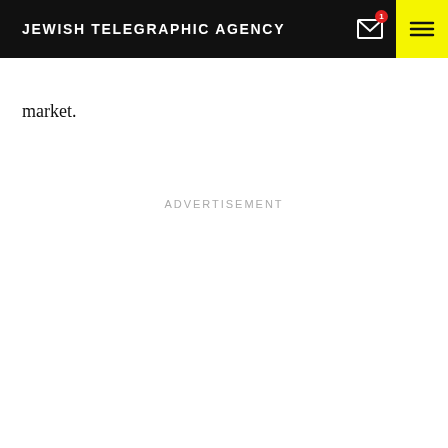JEWISH TELEGRAPHIC AGENCY
market.
ADVERTISEMENT